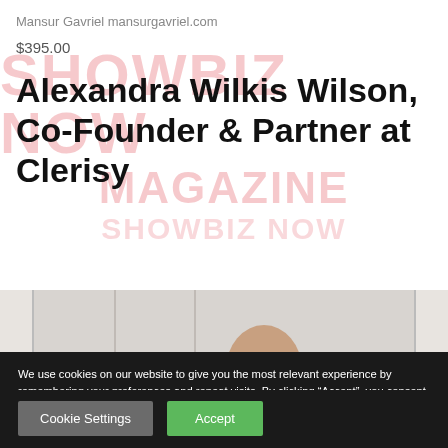Mansur Gavriel mansurgavriel.com
$395.00
Alexandra Wilkis Wilson, Co-Founder & Partner at Clerisy
[Figure (photo): Partial photo strip of a person in a white-walled room]
We use cookies on our website to give you the most relevant experience by remembering your preferences and repeat visits. By clicking “Accept”, you consent to the use of ALL the cookies.
Do not sell my personal information.
Cookie Settings
Accept